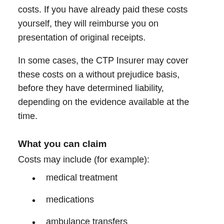costs. If you have already paid these costs yourself, they will reimburse you on presentation of original receipts.
In some cases, the CTP Insurer may cover these costs on a without prejudice basis, before they have determined liability, depending on the evidence available at the time.
What you can claim
Costs may include (for example):
medical treatment
medications
ambulance transfers